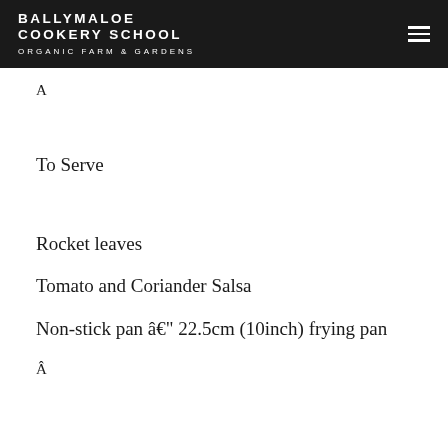BALLYMALOE COOKERY SCHOOL ORGANIC FARM & GARDENS
A
To Serve
Rocket leaves
Tomato and Coriander Salsa
Non-stick pan â€" 22.5cm (10inch) frying pan
Â